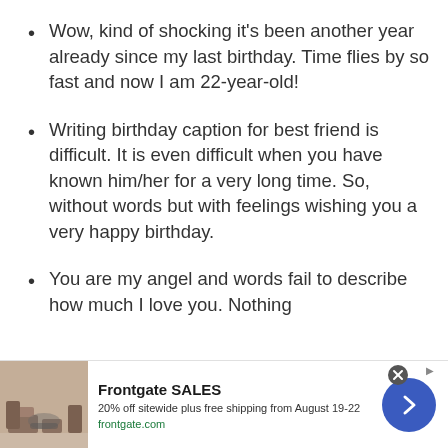Wow, kind of shocking it’s been another year already since my last birthday. Time flies by so fast and now I am 22-year-old!
Writing birthday caption for best friend is difficult. It is even difficult when you have known him/her for a very long time. So, without words but with feelings wishing you a very happy birthday.
You are my angel and words fail to describe how much I love you. Nothing
[Figure (screenshot): Advertisement banner for Frontgate SALES: 20% off sitewide plus free shipping from August 19-22, frontgate.com, with an image of outdoor furniture and a circular blue arrow button.]